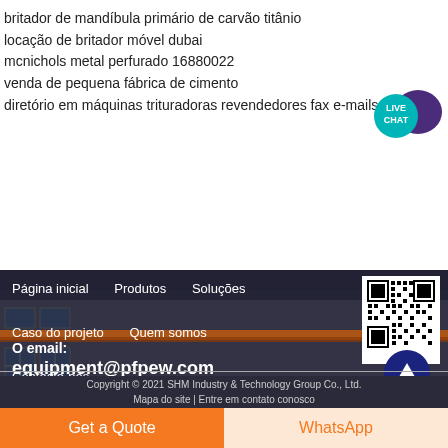britador de mandíbula primário de carvão titânio
locação de britador móvel dubai
mcnichols metal perfurado 16880022
venda de pequena fábrica de cimento
diretório em máquinas trituradoras revendedores fax e-mails hotmail
[Figure (logo): Live Chat speech bubble badge with teal/purple colors]
Página inicial   Produtos   Soluções
Caso do projeto   Quem somos
Contacte-nos
[Figure (other): QR code in white box]
[Figure (other): Dark blue circular upload/arrow button]
O email:
equipment@pfpew.com
Copyright © 2021 SHM Industry & Technology Group Co., Ltd.
Mapa do site | Entre em contato conosco
Get a Quote
WhatsApp